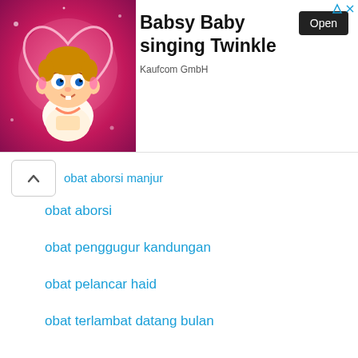[Figure (screenshot): Advertisement banner for Babsy Baby singing Twinkle app by Kaufcom GmbH, showing a cartoon baby character with a pink background and an Open button]
obat aborsi manjur
obat aborsi
obat penggugur kandungan
obat pelancar haid
obat terlambat datang bulan
obat peluntur janin
cara menggugurkan kandungan
jual obat aborsi
jual obat aborsi manjur